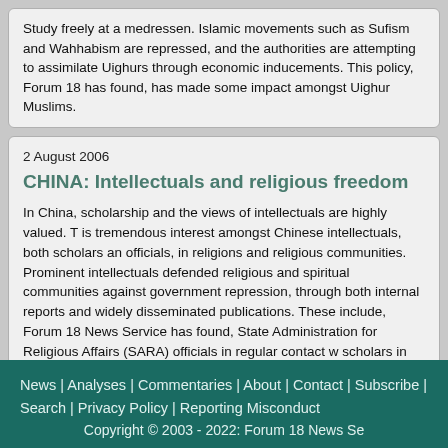Study freely at a medressen. Islamic movements such as Sufism and Wahhabism are repressed, and the authorities are attempting to assimilate Uighurs through economic inducements. This policy, Forum 18 has found, has made some impact amongst Uighur Muslims.
2 August 2006
CHINA: Intellectuals and religious freedom
In China, scholarship and the views of intellectuals are highly valued. There is tremendous interest amongst Chinese intellectuals, both scholars and officials, in religions and religious communities. Prominent intellectuals defended religious and spiritual communities against government repression, through both internal reports and widely disseminated publications. These include, Forum 18 News Service has found, State Administration for Religious Affairs (SARA) officials in regular contact with scholars in Chinese universities and research institutions. Yet there is much frustration amongst scholars with their inability, due to the state's sensitivity, to conduct research on religion and religious communities in contemporary China. The role of intellectuals – whether or not they belong to a religious community - in advancing religious freedom cannot be ignored in Chinese society, Forum 18 notes. Without open and frank scholarly discussions on the topic of religion and its effects on contemporary China, genuine religious freedom faces another obstacle.
News | Analyses | Commentaries | About | Contact | Subscribe | Search | Privacy Policy | Reporting Misconduct Copyright © 2003 - 2022: Forum 18 News Se